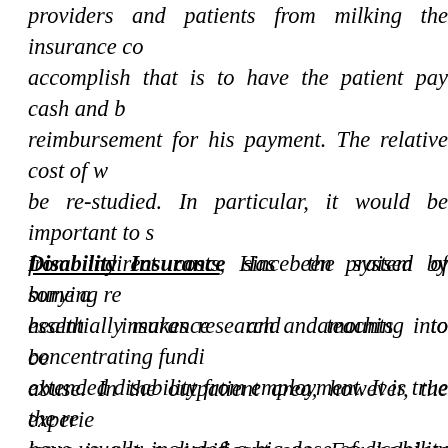providers and patients from milking the insurance co... accomplish that is to have the patient pay cash and b... reimbursement for his payment. The relative cost of w... be re-studied. In particular, it would be important to s... from indirect costs, since the system of burying re... essentially makes research and teaching into be... abuse. In the outpatient area, however, the experie... issue is not a significant one. For helpless patients... sensible revision of diagnosis-related payment still ma...
Disability Insurance Has been praised by some a... health insurance and amounts to concentrating fundi... extended disability from employment. It is true the re... have usually included a big dose of disability rehabili... health groups have concentrated considerable atte... efforts have largely been subsidized experiment... demonstrate overall cost-effectiveness, themselves.... professionals devote up to two months to a strok... overpowering at any income level, and only 4% of str... fibrinolytic therapy. Extending the same generosity to... be ruinous to this approach. Important standard of d... reached when 80-90% are treated, at least in a few...